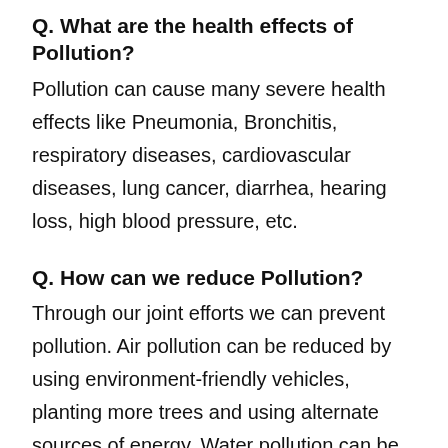Q. What are the health effects of Pollution?
Pollution can cause many severe health effects like Pneumonia, Bronchitis, respiratory diseases, cardiovascular diseases, lung cancer, diarrhea, hearing loss, high blood pressure, etc.
Q. How can we reduce Pollution?
Through our joint efforts we can prevent pollution. Air pollution can be reduced by using environment-friendly vehicles, planting more trees and using alternate sources of energy. Water pollution can be prevented by reducing plastic consumption, by using natural methods to treat sewage. Noise pollution can be prevented by reducing the source of knowledge, using less horns.